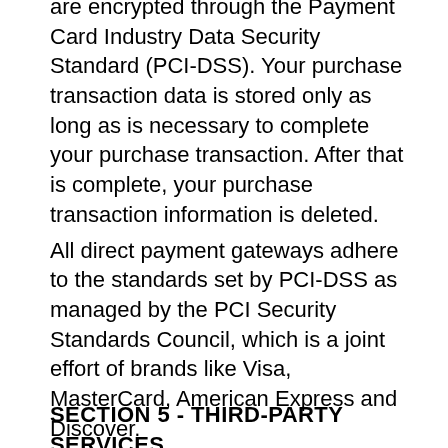are encrypted through the Payment Card Industry Data Security Standard (PCI-DSS). Your purchase transaction data is stored only as long as is necessary to complete your purchase transaction. After that is complete, your purchase transaction information is deleted. All direct payment gateways adhere to the standards set by PCI-DSS as managed by the PCI Security Standards Council, which is a joint effort of brands like Visa, MasterCard, American Express and Discover. PCI-DSS requirements help ensure the secure handling of credit card information by our store and its service providers. For more insight, you may also want to read Shopify's Terms of Service (https://www.shopify.com/legal/terms) or Privacy Statement (https://www.shopify.com/legal/privacy).
SECTION 5 - THIRD-PARTY SERVICES